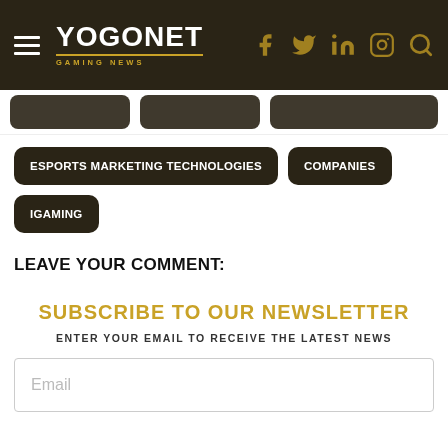YOGONET GAMING NEWS
ESPORTS MARKETING TECHNOLOGIES
COMPANIES
IGAMING
LEAVE YOUR COMMENT:
SUBSCRIBE TO OUR NEWSLETTER
ENTER YOUR EMAIL TO RECEIVE THE LATEST NEWS
Email